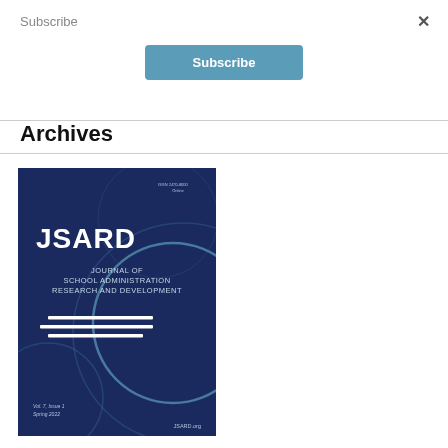Subscribe
×
Subscribe
Archives
[Figure (illustration): Journal cover for JSARD - Journal of School Administration Research and Development, Vol. 7, Issue 1, Spring 2022. Dark navy blue cover with circular design elements and three horizontal white lines. Text includes JSARD logo, Journal of School Administration Research and Development, JSARD.org, and ISSN number.]